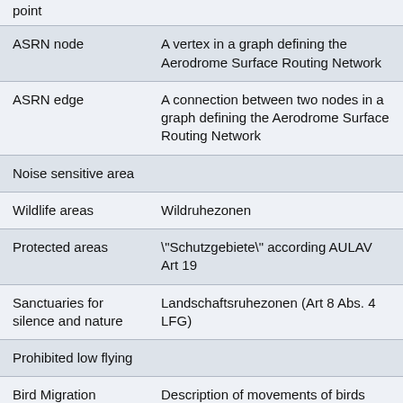| Term | Definition |
| --- | --- |
| point |  |
| ASRN node | A vertex in a graph defining the Aerodrome Surface Routing Network |
| ASRN edge | A connection between two nodes in a graph defining the Aerodrome Surface Routing Network |
| Noise sensitive area |  |
| Wildlife areas | Wildruhezonen |
| Protected areas | "Schutzgebiete" according AULAV Art 19 |
| Sanctuaries for silence and nature | Landschaftsruhezonen (Art 8 Abs. 4 LFG) |
| Prohibited low flying |  |
| Bird Migration | Description of movements of birds associated with migration, including direction and... |